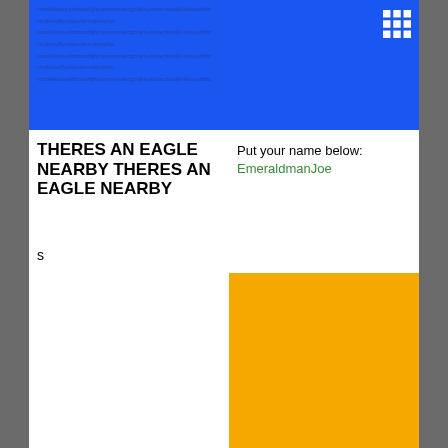[Figure (other): Blue background header area with repeated placeholder text lines in dark blue, and a 3x3 grid icon in top right corner]
THERES AN EAGLE NEARBY THERES AN EAGLE NEARBY
Put your name below: EmeraldmanJoe
s
[Figure (other): Solid orange/amber colored rectangle block]